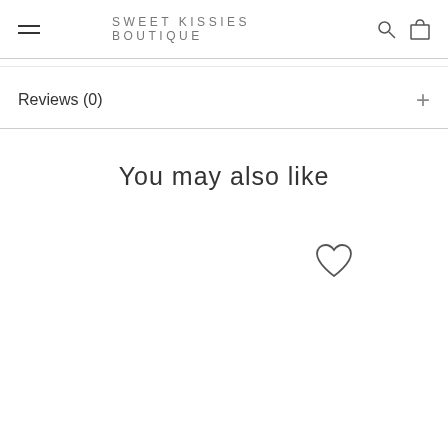SWEET KISSIES BOUTIQUE
Reviews (0)
You may also like
[Figure (illustration): Heart/wishlist icon outline]